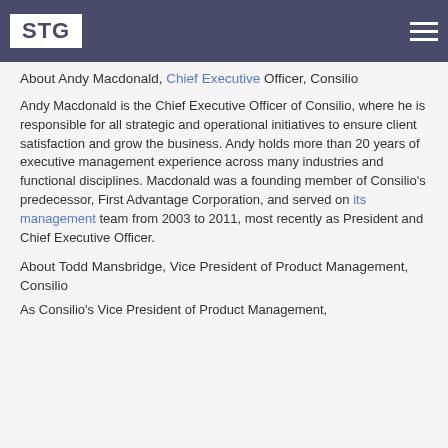STG
About Andy Macdonald, Chief Executive Officer, Consilio
Andy Macdonald is the Chief Executive Officer of Consilio, where he is responsible for all strategic and operational initiatives to ensure client satisfaction and grow the business. Andy holds more than 20 years of executive management experience across many industries and functional disciplines. Macdonald was a founding member of Consilio's predecessor, First Advantage Corporation, and served on its management team from 2003 to 2011, most recently as President and Chief Executive Officer.
About Todd Mansbridge, Vice President of Product Management, Consilio
As Consilio's Vice President of Product Management,